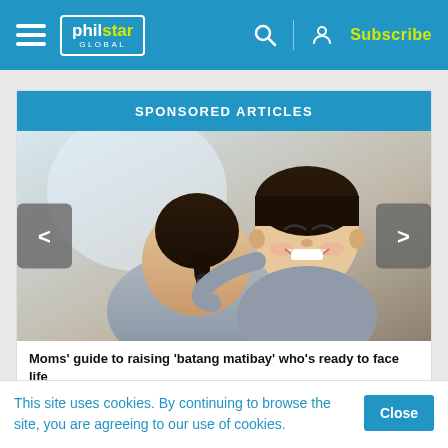philstar GLOBAL — Subscribe
SPONSORED ARTICLES
[Figure (photo): A young smiling boy hugging a woman (seen from behind) in a warm embrace. The boy is looking back at the camera with a big smile.]
Moms' guide to raising 'batang matibay' who's ready to face life
This site uses cookies. By continuing to browse the site, you are agreeing to our use of cookies.